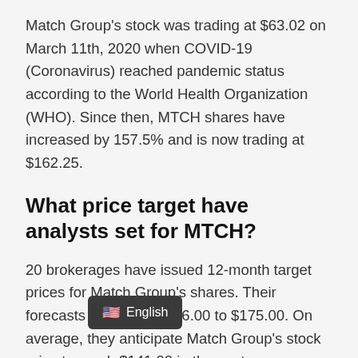Match Group's stock was trading at $63.02 on March 11th, 2020 when COVID-19 (Coronavirus) reached pandemic status according to the World Health Organization (WHO). Since then, MTCH shares have increased by 157.5% and is now trading at $162.25.
What price target have analysts set for MTCH?
20 brokerages have issued 12-month target prices for Match Group's shares. Their forecasts range from $86.00 to $175.00. On average, they anticipate Match Group's stock price to reach $141.00 in the next year. This suggests that the stock has a possible downside of 1...